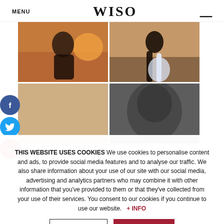MENU  WISO  ☰
[Figure (photo): Four-panel wedding photo grid: top-left shows couple embracing at sunset beach, top-right shows couple kissing on rocky shore in wedding attire, bottom-left partially visible, bottom-right shows groom in close-up black and white]
THIS WEBSITE USES COOKIES We use cookies to personalise content and ads, to provide social media features and to analyse our traffic. We also share information about your use of our site with our social media, advertising and analytics partners who may combine it with other information that you've provided to them or that they've collected from your use of their services. You consent to our cookies if you continue to use our website.  + INFO
DECLINE   ACCEPT